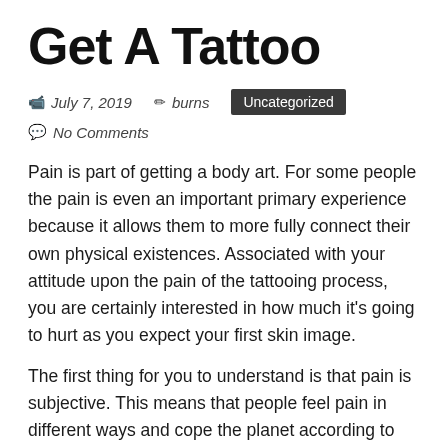Get A Tattoo
📹 July 7, 2019   ✏ burns   Uncategorized
💬 No Comments
Pain is part of getting a body art. For some people the pain is even an important primary experience because it allows them to more fully connect their own physical existences. Associated with your attitude upon the pain of the tattooing process, you are certainly interested in how much it's going to hurt as you expect your first skin image.
The first thing for you to understand is that pain is subjective. This means that people feel pain in different ways and cope the planet according to their